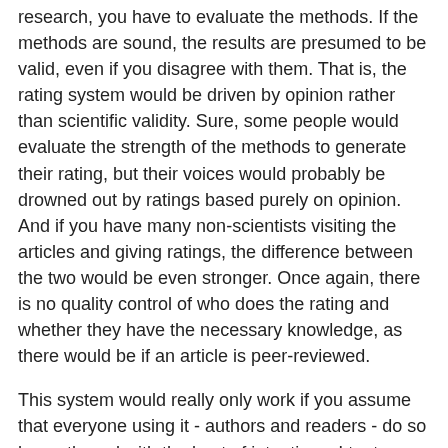research, you have to evaluate the methods. If the methods are sound, the results are presumed to be valid, even if you disagree with them. That is, the rating system would be driven by opinion rather than scientific validity. Sure, some people would evaluate the strength of the methods to generate their rating, but their voices would probably be drowned out by ratings based purely on opinion. And if you have many non-scientists visiting the articles and giving ratings, the difference between the two would be even stronger. Once again, there is no quality control of who does the rating and whether they have the necessary knowledge, as there would be if an article is peer-reviewed.
This system would really only work if you assume that everyone using it - authors and readers - do so honestly and with the best of intentions. I try to see the best in people, individually (because the way one person will behave is an unknown), but here, we're talking about patterns of groups, which are far more predictable. As much as I want to like this idea - because peer review can be unfair and problematic in its own ways - it would likely be chaos.
What do you think readers?